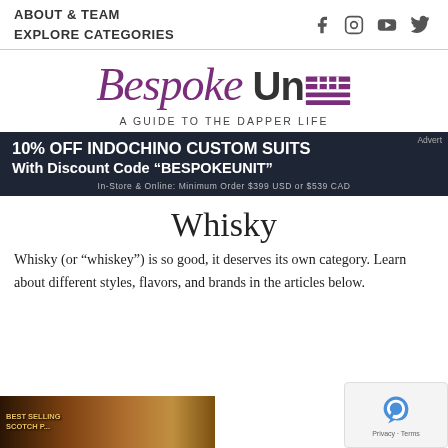ABOUT & TEAM  EXPLORE CATEGORIES
[Figure (logo): Bespoke Unit logo with italic purple script 'Bespoke' and bold 'Unit' text with purple grid icon, tagline: A GUIDE TO THE DAPPER LIFE]
[Figure (infographic): Advertisement banner: 10% OFF INDOCHINO CUSTOM SUITS With Discount Code "BESPOKEUNIT" In-Store & Online: Minimum Order $399 USD or $539 CAD]
Whisky
Whisky (or “whiskey”) is so good, it deserves its own category. Learn about different styles, flavors, and brands in the articles below.
[Figure (photo): Partial thumbnail of whisky bottles at bottom of page]